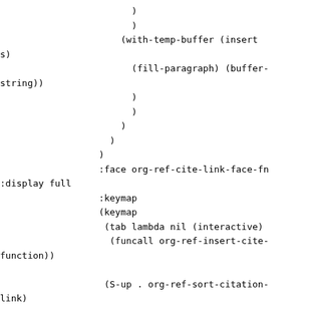)
            )
          (with-temp-buffer (insert
s)
            (fill-paragraph) (buffer-
string))
            )
            )
          )
        )
      )
      :face org-ref-cite-link-face-fn
:display full
      :keymap
      (keymap
       (tab lambda nil (interactive)
        (funcall org-ref-insert-cite-
function))

       (S-up . org-ref-sort-citation-
link)

       (S-right lambda nil
        (interactive)
         (org-ref-swap-citation-link
1))

       (S-left lambda nil
        (interactive)
         (org-ref-swap-citation-link
-1))

       (C-right . org-ref-next-key)
       (C-left . org-ref-previous-
key)